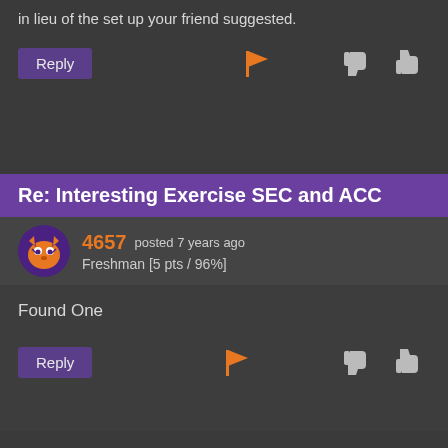in lieu of the set up your friend suggested.
Reply
Re: Interesting Exercise SEC and ACC
4657 posted 7 years ago
Freshman [5 pts / 96%]
Found One
Reply